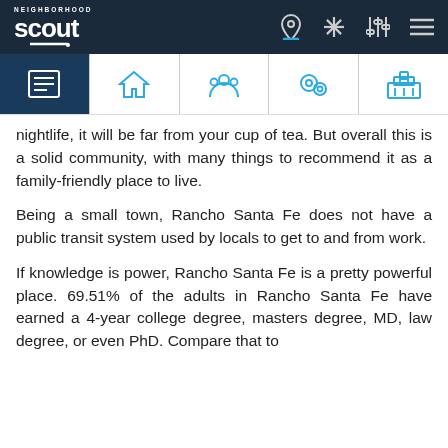Neighborhood Scout - navigation header with logo and icons
nightlife, it will be far from your cup of tea. But overall this is a solid community, with many things to recommend it as a family-friendly place to live.
Being a small town, Rancho Santa Fe does not have a public transit system used by locals to get to and from work.
If knowledge is power, Rancho Santa Fe is a pretty powerful place. 69.51% of the adults in Rancho Santa Fe have earned a 4-year college degree, masters degree, MD, law degree, or even PhD. Compare that to